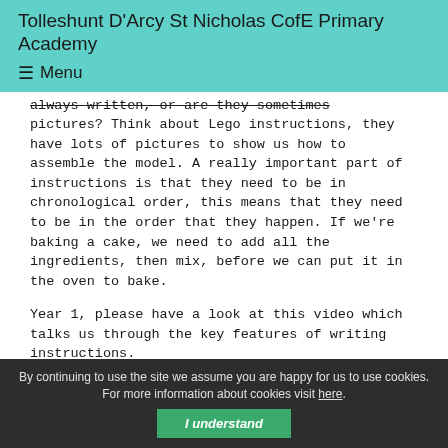Tolleshunt D'Arcy St Nicholas CofE Primary Academy
☰ Menu
always written, or are they sometimes pictures? Think about Lego instructions, they have lots of pictures to show us how to assemble the model. A really important part of instructions is that they need to be in chronological order, this means that they need to be in the order that they happen. If we're baking a cake, we need to add all the ingredients, then mix, before we can put it in the oven to bake.
Year 1, please have a look at this video which talks us through the key features of writing instructions.
By continuing to use the site we assume you are happy for us to use cookies. For more information about cookies visit here. I understand